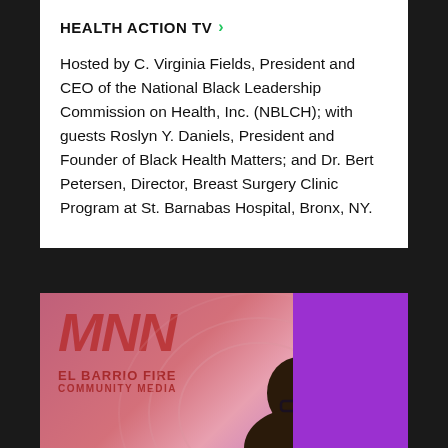HEALTH ACTION TV >
Hosted by C. Virginia Fields, President and CEO of the National Black Leadership Commission on Health, Inc. (NBLCH); with guests Roslyn Y. Daniels, President and Founder of Black Health Matters; and Dr. Bert Petersen, Director, Breast Surgery Clinic Program at St. Barnabas Hospital, Bronx, NY.
[Figure (photo): MNN (Manhattan Neighborhood Network) studio set showing the El Barrio Fire Community Media branding in red on a pink/rose background, with a person visible from shoulders up wearing glasses, and a purple panel on the right side.]